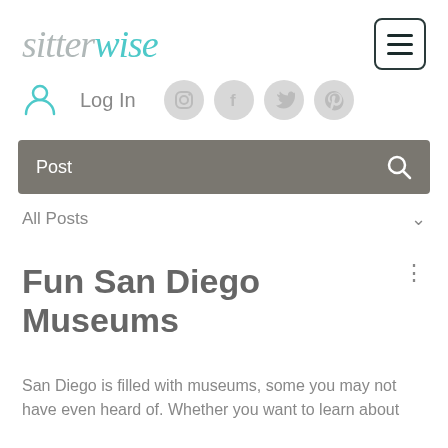[Figure (logo): SitterWise logo: 'sitter' in gray italic serif, 'wise' in teal cursive, with a hamburger menu button (three horizontal lines) in a rounded square on the right]
[Figure (infographic): Navigation row with teal user/person icon, 'Log In' text in gray, and four social media icons (Instagram, Facebook, Twitter, Pinterest) as light gray circles]
[Figure (screenshot): Dark gray search bar with 'Post' label and a search magnifying glass icon on the right]
All Posts
Fun San Diego Museums
San Diego is filled with museums, some you may not have even heard of. Whether you want to learn about